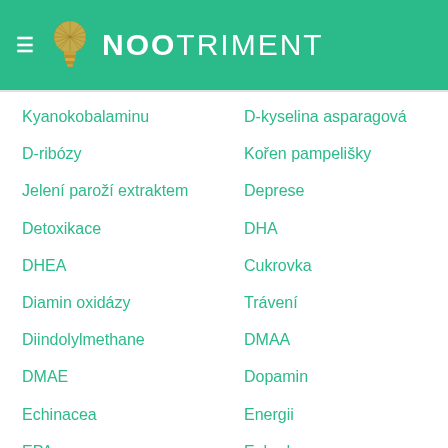[Figure (logo): NooTriment website header with hamburger menu icon, light bulb logo, and NOOTRIMENT text on green background]
Kyanokobalaminu
D-ribózy
Jelení paroží extraktem
Detoxikace
DHEA
Diamin oxidázy
Diindolylmethane
DMAE
Echinacea
EPA
Efedrin
D-kyselina asparagová
Kořen pampelišky
Deprese
DHA
Cukrovka
Trávení
DMAA
Dopamin
Energii
Ephedra
Estrogen